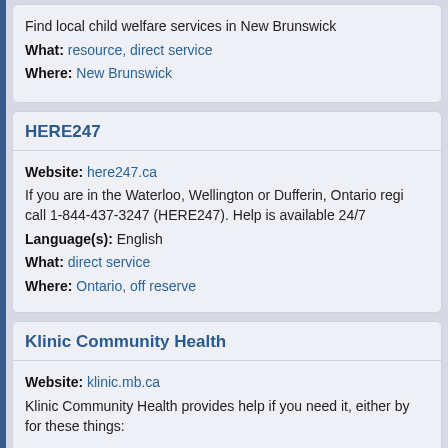Find local child welfare services in New Brunswick
What: resource, direct service
Where: New Brunswick
HERE247
Website: here247.ca
If you are in the Waterloo, Wellington or Dufferin, Ontario regi call 1-844-437-3247 (HERE247). Help is available 24/7
Language(s): English
What: direct service
Where: Ontario, off reserve
Klinic Community Health
Website: klinic.mb.ca
Klinic Community Health provides help if you need it, either by for these things: